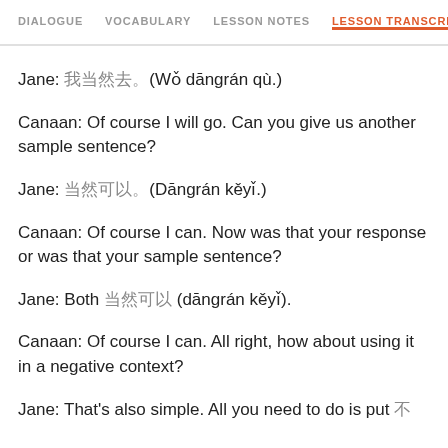DIALOGUE  VOCABULARY  LESSON NOTES  LESSON TRANSCRIPT  C
Jane: 我当然去。(Wǒ dāngrán qù.)
Canaan: Of course I will go. Can you give us another sample sentence?
Jane: 当然可以。(Dāngrán kěyǐ.)
Canaan: Of course I can. Now was that your response or was that your sample sentence?
Jane: Both 当然可以 (dāngrán kěyǐ).
Canaan: Of course I can. All right, how about using it in a negative context?
Jane: That's also simple. All you need to do is put 不